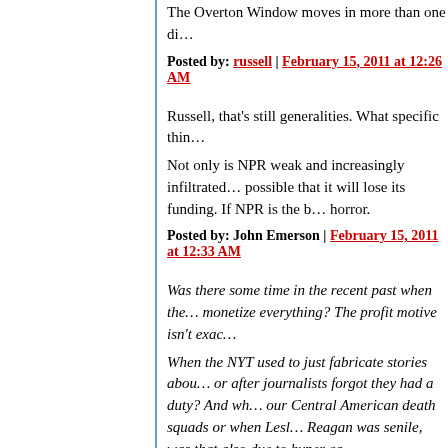The Overton Window moves in more than one di...
Posted by: russell | February 15, 2011 at 12:26 AM
Russell, that's still generalities. What specific thin...
Not only is NPR weak and increasingly infiltrated... possible that it will lose its funding. If NPR is the b... horror.
Posted by: John Emerson | February 15, 2011 at 12:33 AM
Was there some time in the recent past when the... monetize everything? The profit motive isn't exac...
When the NYT used to just fabricate stories abou... or after journalists forgot they had a duty? And wh... our Central American death squads or when Lesl... Reagan was senile, was that also due to hyper ca...
Id say
1)the ethic of monetizing everything was already a...
2)It's ludicrous to act as if I suggested that this ha... across the industry